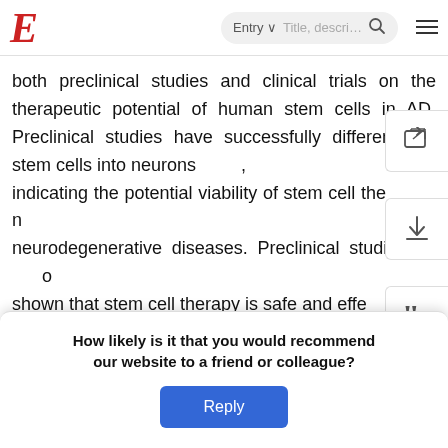E  Entry  Title, description search  ≡
both preclinical studies and clinical trials on the therapeutic potential of human stem cells in AD. Preclinical studies have successfully differentiated stem cells into neurons, indicating the potential viability of stem cell therapy in neurodegenerative diseases. Preclinical studies have also shown that stem cell therapy is safe and effective in improving cognitive performance in animal models, as demonstrated in the Morris water maze test and novel object recognition test. Although few clinical trials have been completed and many trials are still in phase I and II, the initial results confirm the outcomes of the preclinical studies. However, there are still substantial issues and stem cell therapy. Future treatment of AD should safety
How likely is it that you would recommend our website to a friend or colleague?
Reply